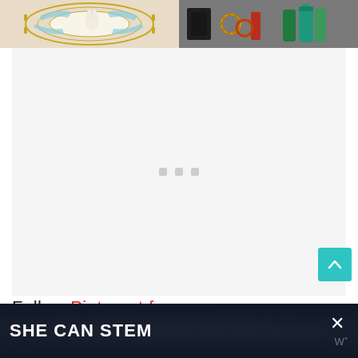[Figure (photo): Two decorative images at top: left shows an ornate plate/dish with gold and teal geometric patterns, right shows assorted colorful items including accessories and a teal bottle]
[Figure (screenshot): Large light gray loading/placeholder area with three small gray square dots centered, indicating content is loading. A teal scroll-to-top button with white upward chevron arrow is in the lower right.]
Follow ... Pinterest f...
[Figure (infographic): Dark navy advertisement banner at bottom reading SHE CAN STEM in large white bold text, with an X close button and small logo on the right side]